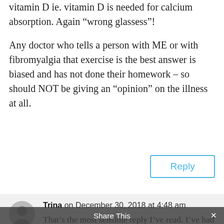vitamin D ie. vitamin D is needed for calcium absorption. Again “wrong glassess”!
Any doctor who tells a person with ME or with fibromyalgia that exercise is the best answer is biased and has not done their homework – so should NOT be giving an “opinion” on the illness at all.
Reply
Trina on December 30, 2018 at 4:48 am
That’s the most sensible reply I’ve read. I’ve had fibro for 11 years but only been diagnosed last year. The initial onset and impact was sudden and life changing. The lack of support
Share This ×